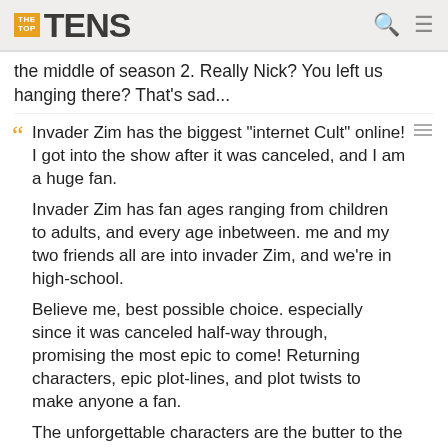THE TOP TENS
the middle of season 2. Really Nick? You left us hanging there? That's sad...
Invader Zim has the biggest "internet Cult" online! I got into the show after it was canceled, and I am a huge fan.

Invader Zim has fan ages ranging from children to adults, and every age inbetween. me and my two friends all are into invader Zim, and we're in high-school.

Believe me, best possible choice. especially since it was canceled half-way through, promising the most epic to come! Returning characters, epic plot-lines, and plot twists to make anyone a fan.

The unforgettable characters are the butter to the bread of the plot! Dib has just enough amount of crazy, Zim enough of ego, and Gir enough of tacos to make everyone fond of the entire show! Not to mention all the side-line characters!

Invader Zim would be the best possible choice to